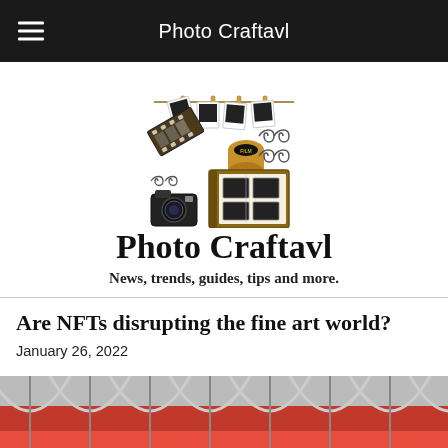Photo Craftavl
[Figure (logo): Photo Craftavl logo with polaroid photos on a clothesline, film strip, film roll, decorative elements, camera, and photo album]
Photo Craftavl
News, trends, guides, tips and more.
Are NFTs disrupting the fine art world?
January 26, 2022
[Figure (photo): Bottom strip showing red and silver stadium or arena seating/roof structures]